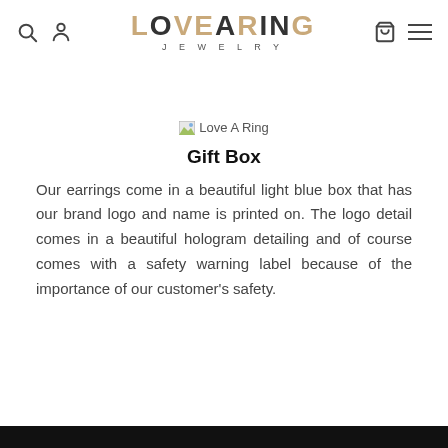LOVEARING JEWELRY
[Figure (logo): Broken image placeholder labeled 'Love A Ring']
Gift Box
Our earrings come in a beautiful light blue box that has our brand logo and name is printed on. The logo detail comes in a beautiful hologram detailing and of course comes with a safety warning label because of the importance of our customer's safety.